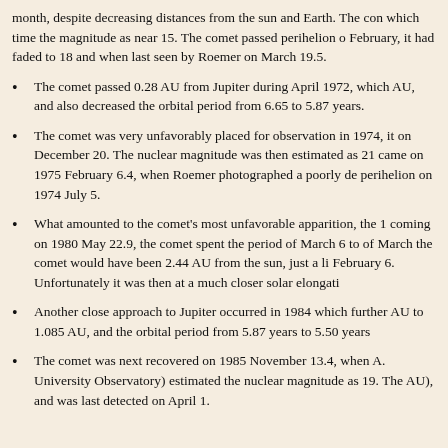month, despite decreasing distances from the sun and Earth. The comet passed perihelion on which time the magnitude as near 15. The comet passed perihelion o February, it had faded to 18 and when last seen by Roemer on March 19.5.
The comet passed 0.28 AU from Jupiter during April 1972, which AU, and also decreased the orbital period from 6.65 to 5.87 years.
The comet was very unfavorably placed for observation in 1974, it on December 20. The nuclear magnitude was then estimated as 21 came on 1975 February 6.4, when Roemer photographed a poorly de perihelion on 1974 July 5.
What amounted to the comet's most unfavorable apparition, the 1 coming on 1980 May 22.9, the comet spent the period of March 6 to of March the comet would have been 2.44 AU from the sun, just a li February 6. Unfortunately it was then at a much closer solar elongati
Another close approach to Jupiter occurred in 1984 which further AU to 1.085 AU, and the orbital period from 5.87 years to 5.50 years
The comet was next recovered on 1985 November 13.4, when A. University Observatory) estimated the nuclear magnitude as 19. The AU), and was last detected on April 1.